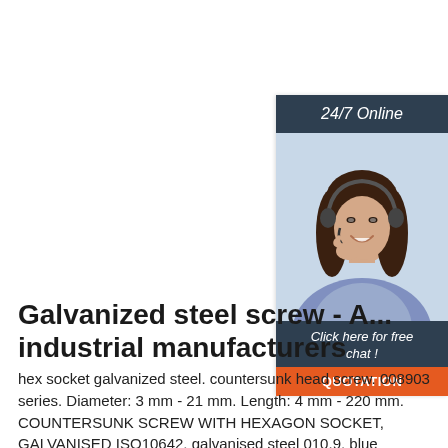[Figure (photo): Customer support representative woman with headset smiling, used as a 24/7 online chat widget sidebar element]
Galvanized steel screw - A... industrial manufacturers
hex socket galvanized steel. countersunk head screw. 008903 series. Diameter: 3 mm - 21 mm. Length: 4 mm - 220 mm. COUNTERSUNK SCREW WITH HEXAGON SOCKET, GALVANISED ISO10642, galvanised steel 010.9, blue passivated (A2K) ISO10642, galvanised steel 010.9, blue passivated